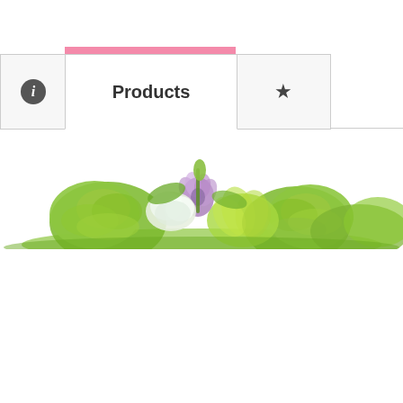[Figure (screenshot): UI tab navigation bar with three tabs: an info icon tab (left), a 'Products' active tab with pink top indicator (center), and a star/favorite icon tab (right). Below the tab bar is a partial photograph of green and purple flowers/bouquet cropped at the bottom of the visible area.]